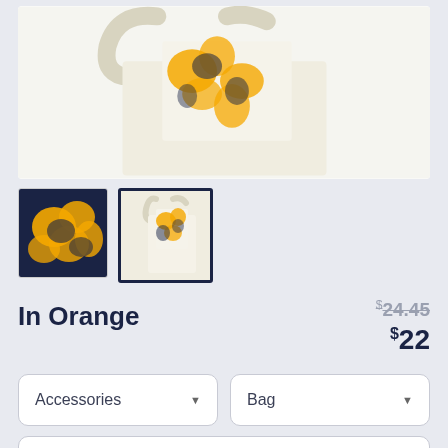[Figure (photo): Product photo of a white tote/laundry bag with orange and navy floral pattern printed on it, shown against white background]
[Figure (photo): Thumbnail 1: close-up of orange and navy floral pattern]
[Figure (photo): Thumbnail 2 (selected): full bag view, white with floral print, selected state with dark border]
In Orange
$24.45 (strikethrough original price)
$22 (sale price)
Accessories (dropdown)
Bag (dropdown)
Laundry Bag (dropdown)